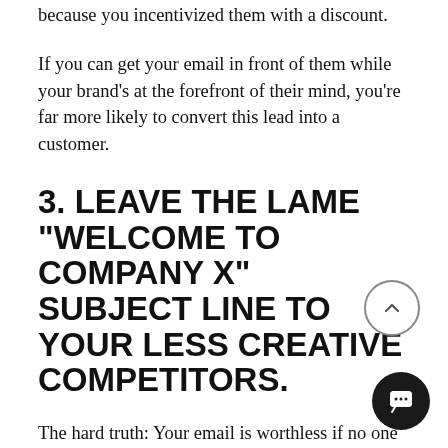because you incentivized them with a discount.
If you can get your email in front of them while your brand's at the forefront of their mind, you're far more likely to convert this lead into a customer.
3. LEAVE THE LAME "WELCOME TO COMPANY X" SUBJECT LINE TO YOUR LESS CREATIVE COMPETITORS.
The hard truth: Your email is worthless if no one opens it. Fortunately, fun and creative